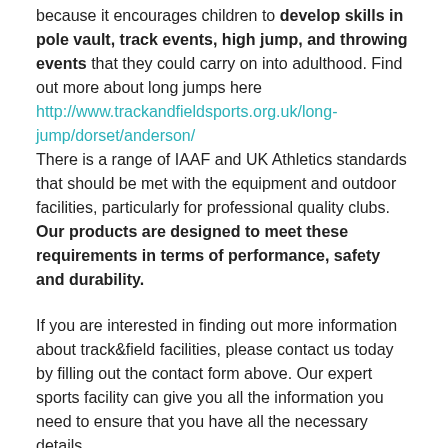because it encourages children to develop skills in pole vault, track events, high jump, and throwing events that they could carry on into adulthood. Find out more about long jumps here http://www.trackandfieldsports.org.uk/long-jump/dorset/anderson/ There is a range of IAAF and UK Athletics standards that should be met with the equipment and outdoor facilities, particularly for professional quality clubs. Our products are designed to meet these requirements in terms of performance, safety and durability.
If you are interested in finding out more information about track&field facilities, please contact us today by filling out the contact form above. Our expert sports facility can give you all the information you need to ensure that you have all the necessary details.
Compact Athletics Facilities Near Me
A brand new model of cost-effective and sustainable outside sports areas which offer a way into club venues is now being made. Lots of schools cannot get athletic facilities remodelled, meaning that children lose out on track&field sporting chances. Quite often,